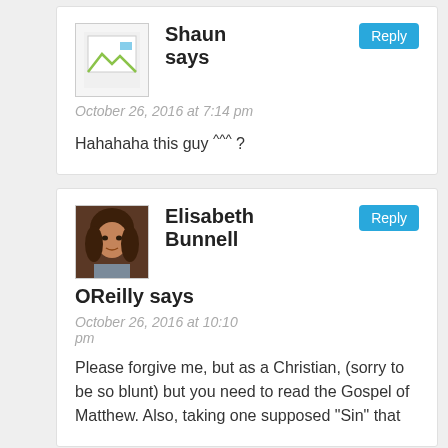Shaun says
October 26, 2016 at 7:14 pm
Hahahaha this guy ^^^ ?
Elisabeth Bunnell OReilly says
October 26, 2016 at 10:10 pm
Please forgive me, but as a Christian, (sorry to be so blunt) but you need to read the Gospel of Matthew. Also, taking one supposed "Sin" that